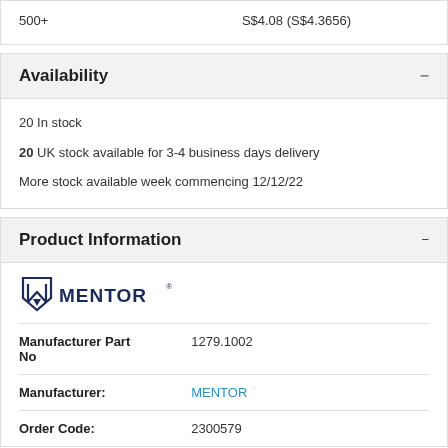| Qty | Price |
| --- | --- |
| 500+ | S$4.08 (S$4.3656) |
Availability
20 In stock
20 UK stock available for 3-4 business days delivery
More stock available week commencing 12/12/22
Product Information
[Figure (logo): Mentor brand logo with stylized M icon and MENTOR text]
| Field | Value |
| --- | --- |
| Manufacturer Part No | 1279.1002 |
| Manufacturer: | MENTOR |
| Order Code: | 2300579 |